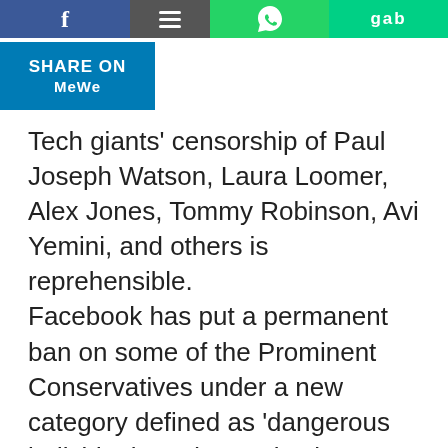[Figure (screenshot): Social media share buttons row: Facebook, menu/hamburger, WhatsApp, Gab]
[Figure (screenshot): SHARE ON MeWe button in blue]
Tech giants' censorship of Paul Joseph Watson, Laura Loomer, Alex Jones, Tommy Robinson, Avi Yemini, and others is reprehensible.
Facebook has put a permanent ban on some of the Prominent Conservatives under a new category defined as 'dangerous individuals and organisations'. Meanwhile pages belonging to terrorist orgs and extremist Imams are operating smoothly, and of course, verified.
The fight against social media censorship